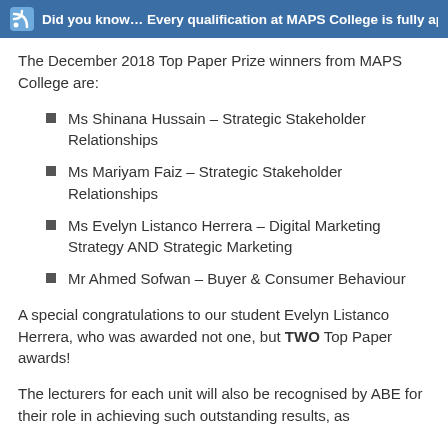Did you know… Every qualification at MAPS College is fully approved by
The December 2018 Top Paper Prize winners from MAPS College are:
Ms Shinana Hussain – Strategic Stakeholder Relationships
Ms Mariyam Faiz – Strategic Stakeholder Relationships
Ms Evelyn Listanco Herrera – Digital Marketing Strategy AND Strategic Marketing
Mr Ahmed Sofwan – Buyer & Consumer Behaviour
A special congratulations to our student Evelyn Listanco Herrera, who was awarded not one, but TWO Top Paper awards!
The lecturers for each unit will also be recognised by ABE for their role in achieving such outstanding results, as